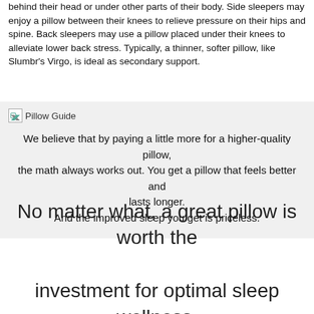behind their head or under other parts of their body. Side sleepers may enjoy a pillow between their knees to relieve pressure on their hips and spine. Back sleepers may use a pillow placed under their knees to alleviate lower back stress. Typically, a thinner, softer pillow, like Slumbr's Virgo, is ideal as secondary support.
[Figure (illustration): Broken image placeholder with label 'Pillow Guide']
We believe that by paying a little more for a higher-quality pillow, the math always works out. You get a pillow that feels better and lasts longer. And the improved sleep you get is priceless.
No matter what, a great pillow is worth the investment for optimal sleep wellness.